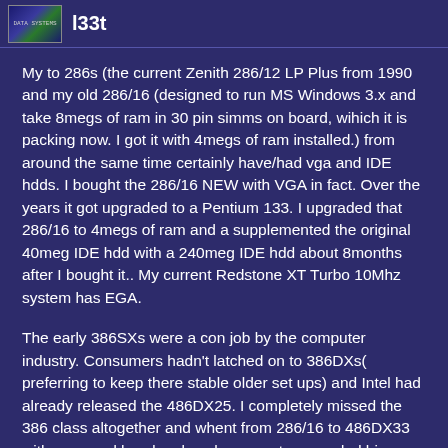l33t
My to 286s (the current Zenith 286/12 LP Plus from 1990 and my old 286/16 (designed to run MS Windows 3.x and take 8megs of ram in 30 pin simms on board, wihich it is packing now. I got it with 4megs of ram installed.) from around the same time certainly have/had vga and IDE hdds. I bought the 286/16 NEW with VGA in fact. Over the years it got upgraded to a Pentium 133. I upgraded that 286/16 to 4megs of ram and a supplemented the original 40meg IDE hdd with a 240meg IDE hdd about 8months after I bought it.. My current Redstone XT Turbo 10Mhz system has EGA.
The early 386SXs were a con job by the computer industry. Consumers hadn't latched on to 386DXs( preferring to keep there stable older set ups) and Intel had already released the 486DX25. I completely missed the 386 class altogether and whent from 286/16 to 486DX33 with a second hand mobo when a mate upgraded his system to a Pentium